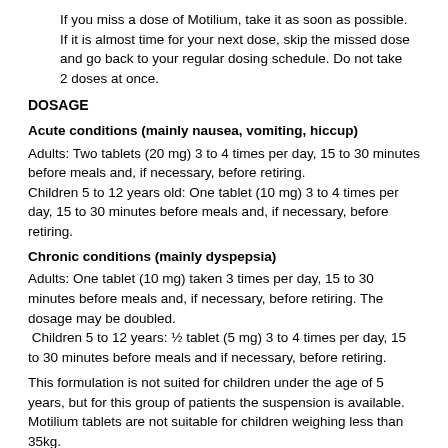If you miss a dose of Motilium, take it as soon as possible. If it is almost time for your next dose, skip the missed dose and go back to your regular dosing schedule. Do not take 2 doses at once.
DOSAGE
Acute conditions (mainly nausea, vomiting, hiccup)
Adults: Two tablets (20 mg) 3 to 4 times per day, 15 to 30 minutes before meals and, if necessary, before retiring.
Children 5 to 12 years old: One tablet (10 mg) 3 to 4 times per day, 15 to 30 minutes before meals and, if necessary, before retiring.
Chronic conditions (mainly dyspepsia)
Adults: One tablet (10 mg) taken 3 times per day, 15 to 30 minutes before meals and, if necessary, before retiring. The dosage may be doubled. Children 5 to 12 years: ½ tablet (5 mg) 3 to 4 times per day, 15 to 30 minutes before meals and if necessary, before retiring.
This formulation is not suited for children under the age of 5 years, but for this group of patients the suspension is available. Motilium tablets are not suitable for children weighing less than 35kg.
Motilium should be used with caution in patients with renal impairment or in those at risk of fluid retention. In patients with severe renal insufficiency ( serum creatinine more than 6 mg/100 mL, ie. more than 0,6 mmol/L) the elimination half-life of domperidone was increased from 7,4 to 20,8 hours.